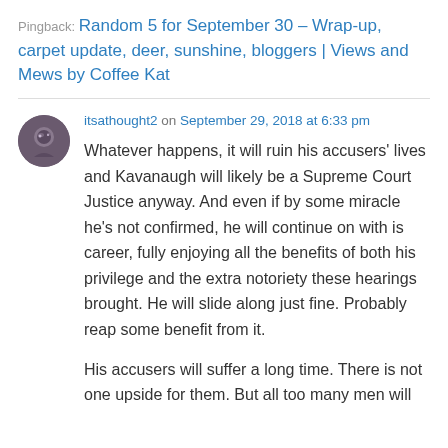Pingback: Random 5 for September 30 – Wrap-up, carpet update, deer, sunshine, bloggers | Views and Mews by Coffee Kat
itsathought2 on September 29, 2018 at 6:33 pm
Whatever happens, it will ruin his accusers' lives and Kavanaugh will likely be a Supreme Court Justice anyway. And even if by some miracle he's not confirmed, he will continue on with is career, fully enjoying all the benefits of both his privilege and the extra notoriety these hearings brought. He will slide along just fine. Probably reap some benefit from it.
His accusers will suffer a long time. There is not one upside for them. But all too many men will